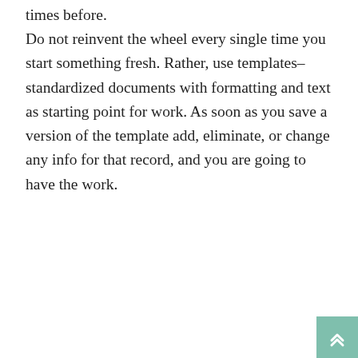times before. Do not reinvent the wheel every single time you start something fresh. Rather, use templates–standardized documents with formatting and text as starting point for work. As soon as you save a version of the template add, eliminate, or change any info for that record, and you are going to have the work.